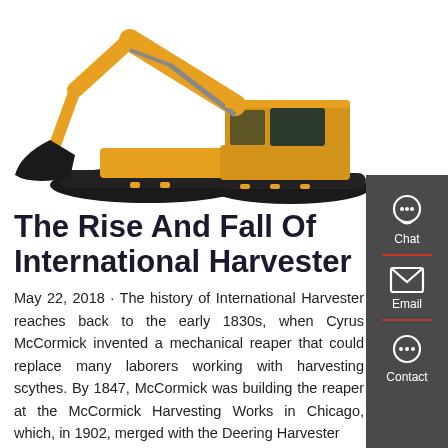[Figure (photo): Yellow construction excavator on white background, viewed from the side, with arm extended and bucket lowered.]
The Rise And Fall Of International Harvester
May 22, 2018 · The history of International Harvester reaches back to the early 1830s, when Cyrus McCormick invented a mechanical reaper that could replace many laborers working with harvesting scythes. By 1847, McCormick was building the reaper at the McCormick Harvesting Works in Chicago, which, in 1902, merged with the Deering Harvester Company to create...